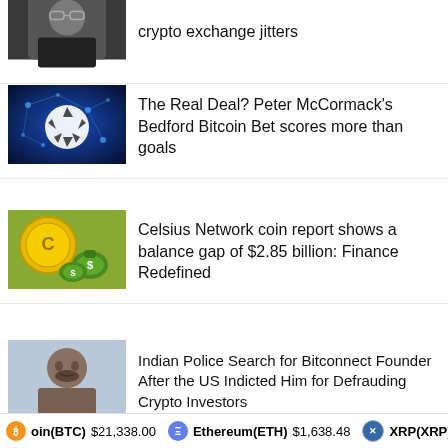[Figure (photo): Partial view of a person with glasses, cropped at top]
crypto exchange jitters
[Figure (photo): Soccer ball on a digital network/blockchain background]
The Real Deal? Peter McCormack's Bedford Bitcoin Bet scores more than goals
[Figure (photo): Gold coin and money bags illustration representing Celsius Network]
Celsius Network coin report shows a balance gap of $2.85 billion: Finance Redefined
[Figure (photo): Photo of a man, presumably related to Bitconnect founder story]
Indian Police Search for Bitconnect Founder After the US Indicted Him for Defrauding Crypto Investors
[Figure (photo): Bitcoin logo on dark blue digital background]
Weak address growth points to Bitcoin price failing to sustain $25K
Bitcoin(BTC) $21,338.00   Ethereum(ETH) $1,638.48   XRP(XRP)